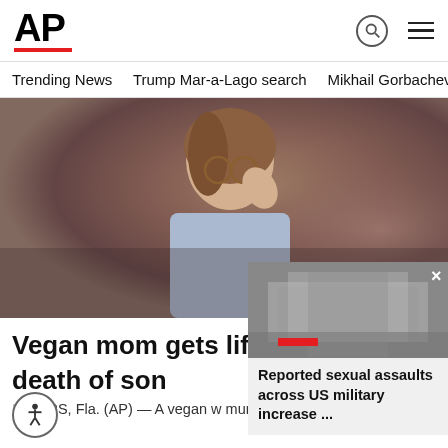[Figure (logo): AP (Associated Press) logo in bold black text with red underline bar]
Trending News   Trump Mar-a-Lago search   Mikhail Gorbachev d
[Figure (photo): Woman with glasses and brown hair touching her forehead in a courtroom setting]
[Figure (photo): Aerial view of what appears to be a large government building complex (Pentagon), with a red bar overlay]
Reported sexual assaults across US military increase ...
Vegan mom gets life in prison death of son
MYERS, Fla. (AP) — A vegan w murder in the malnutrition death of her